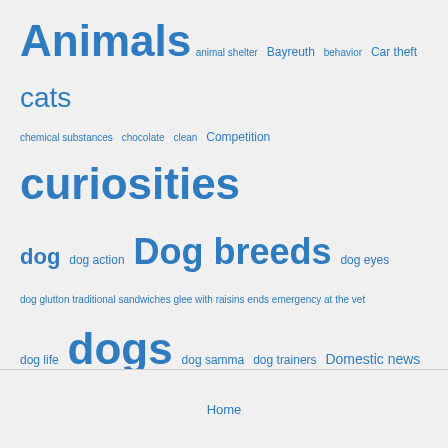[Figure (infographic): Tag cloud with various terms related to animals, dogs, pets and news in different font sizes, all in blue color on light gray background]
Home